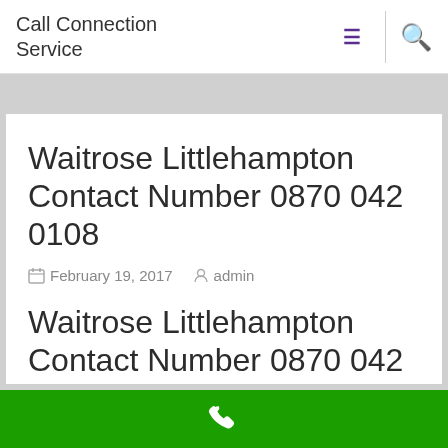Call Connection Service
Waitrose Littlehampton Contact Number 0870 042 0108
February 19, 2017   admin
Waitrose Littlehampton Contact Number 0870 042